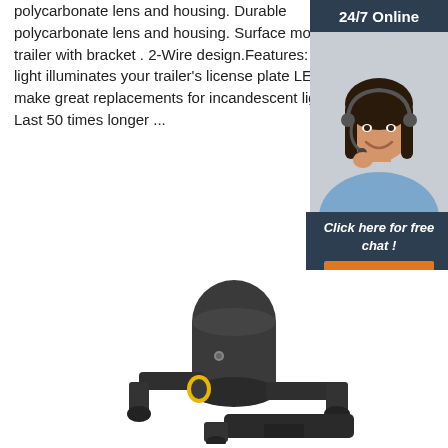polycarbonate lens and housing. Durable polycarbonate lens and housing. Surface mount to trailer with bracket . 2-Wire design.Features: LED light illuminates your trailer's license plate LEDs make great replacements for incandescent lights Last 50 times longer ...
Get Price
[Figure (photo): 24/7 Online customer service sidebar with photo of smiling woman with headset, dark teal background, 'Click here for free chat!' text and orange QUOTATION button]
[Figure (photo): Product photo of a black plastic automotive connector/sensor component with yellow rubber seal and mounting bracket]